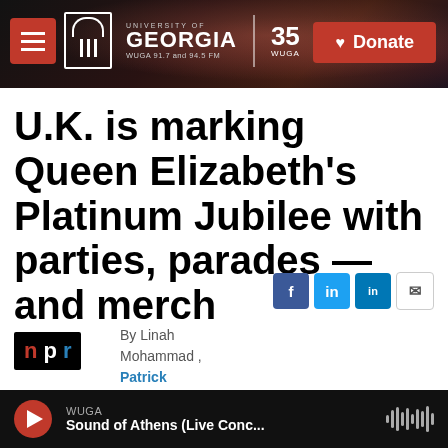[Figure (screenshot): WUGA University of Georgia radio station website header with logo, navigation hamburger menu, and red Donate button. Background shows a blurred photo of audio mixing board equipment.]
U.K. is marking Queen Elizabeth's Platinum Jubilee with parties, parades — and merch
By Linah Mohammad , Patrick Jarenwattananon
[Figure (logo): NPR logo in black, red, white and blue colors]
Published June 3, 2022
[Figure (screenshot): WUGA audio player bar at bottom showing play button and 'Sound of Athens (Live Conc...' with waveform animation]